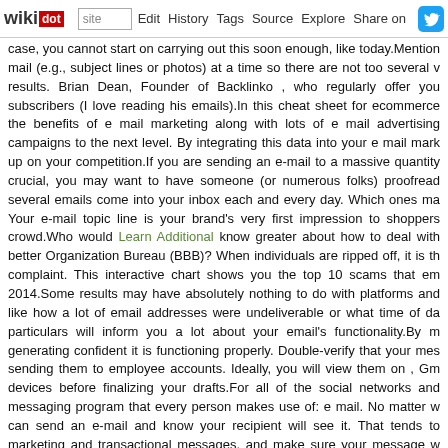wikidot | site | Edit | History | Tags | Source | Explore | Share on Twitter
case, you cannot start on carrying out this soon enough, like today. Mention mail (e.g., subject lines or photos) at a time so there are not too several v results. Brian Dean, Founder of Backlinko , who regularly offer you subscribers (I love reading his emails).In this cheat sheet for ecommerce the benefits of e mail marketing along with lots of e mail advertising campaigns to the next level. By integrating this data into your e mail mark up on your competition.If you are sending an e-mail to a massive quantity crucial, you may want to have someone (or numerous folks) proofread several emails come into your inbox each and every day. Which ones ma Your e-mail topic line is your brand's very first impression to shoppers crowd.Who would Learn Additional know greater about how to deal with better Organization Bureau (BBB)? When individuals are ripped off, it is th complaint. This interactive chart shows you the top 10 scams that em 2014.Some results may have absolutely nothing to do with platforms and like how a lot of email addresses were undeliverable or what time of da particulars will inform you a lot about your email's functionality.By m generating confident it is functioning properly. Double-verify that your mes sending them to employee accounts. Ideally, you will view them on , Gm devices before finalizing your drafts.For all of the social networks and messaging program that every person makes use of: e mail. No matter w can send an e-mail and know your recipient will see it. That tends to marketing and transactional messages, and make sure your message w get individuals to join your e mail list. Beth is our Content Advertising and the best way of communicating your brand with words simply be adequate.Promotions: Just because folks don't want non-cease promotio know about upcoming sales or particular deals. In truth, offering coupon: way of e mail is a excellent technique for boosting CTR and revenue.W emails and get efficiency metrics that will assist you grow. That's why it's Get to know your buyers and send them emails that are beneficial to the